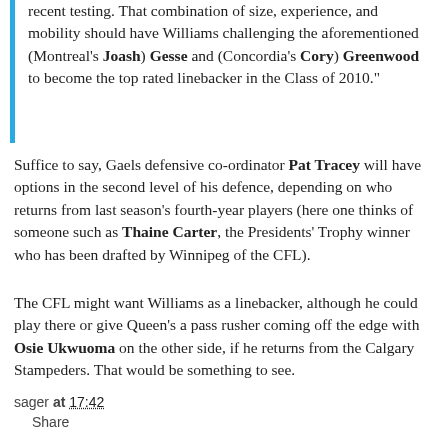recent testing. That combination of size, experience, and mobility should have Williams challenging the aforementioned (Montreal's Joash) Gesse and (Concordia's Cory) Greenwood to become the top rated linebacker in the Class of 2010."
Suffice to say, Gaels defensive co-ordinator Pat Tracey will have options in the second level of his defence, depending on who returns from last season's fourth-year players (here one thinks of someone such as Thaine Carter, the Presidents' Trophy winner who has been drafted by Winnipeg of the CFL).
The CFL might want Williams as a linebacker, although he could play there or give Queen's a pass rusher coming off the edge with Osie Ukwuoma on the other side, if he returns from the Calgary Stampeders. That would be something to see.
sager at 17:42  Share